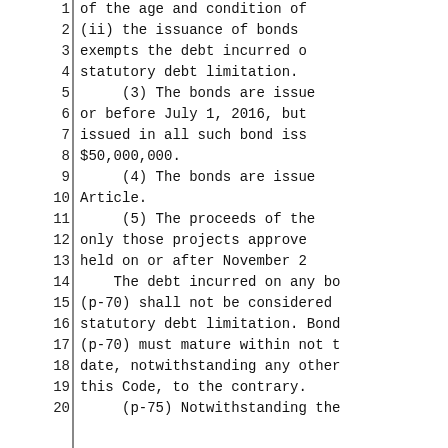1    of the age and condition of
2    (ii) the issuance of bonds
3    exempts the debt incurred o
4    statutory debt limitation.
5         (3) The bonds are issue
6    or before July 1, 2016, but
7    issued in all such bond iss
8    $50,000,000.
9         (4) The bonds are issue
10   Article.
11        (5) The proceeds of the
12   only those projects approve
13   held on or after November 2
14        The debt incurred on any bo
15   (p-70) shall not be considered
16   statutory debt limitation. Bond
17   (p-70) must mature within not t
18   date, notwithstanding any other
19   this Code, to the contrary.
20        (p-75) Notwithstanding the